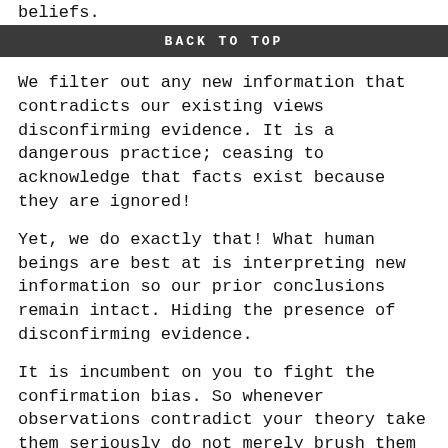beliefs.
BACK TO TOP
We filter out any new information that contradicts our existing views disconfirming evidence. It is a dangerous practice; ceasing to acknowledge that facts exist because they are ignored!
Yet, we do exactly that! What human beings are best at is interpreting new information so our prior conclusions remain intact. Hiding the presence of disconfirming evidence.
It is incumbent on you to fight the confirmation bias. So whenever observations contradict your theory take them seriously do not merely brush them aside! Lean into them, test your beliefs.
And do it sooner rather than later as the brain does a very good job of forgetting disconfirming evidence after a